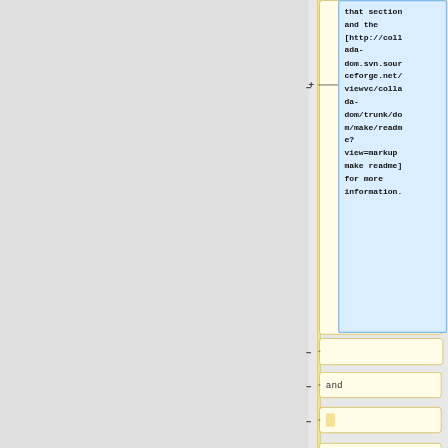[Figure (flowchart): A tree/diff view showing a vertical yellow bar with connected yellow rounded-rectangle nodes. On the right is a blue highlighted callout box containing a URL reference: 'that section and the [http://collada-dom.svn.sourceforge.net/viewvc/collada-dom/trunk/dom/make/readme?view=markup make readme] for more information.' Below the main tall node are smaller nodes: an empty node, a node with 'and', a node with a yellow highlighted cell, and a node starting with 'man'.]
that section and the [http://collada-dom.svn.sourceforge.net/viewvc/collada-dom/trunk/dom/make/readme?view=markup make readme] for more information.